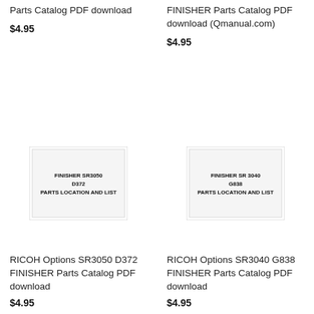Parts Catalog PDF download
$4.95
FINISHER Parts Catalog PDF download (Qmanual.com)
$4.95
[Figure (other): Cover page of FINISHER SR3050 D372 PARTS LOCATION AND LIST manual]
[Figure (other): Cover page of FINISHER SR 3040 G838 PARTS LOCATION AND LIST manual]
RICOH Options SR3050 D372 FINISHER Parts Catalog PDF download
$4.95
RICOH Options SR3040 G838 FINISHER Parts Catalog PDF download
$4.95